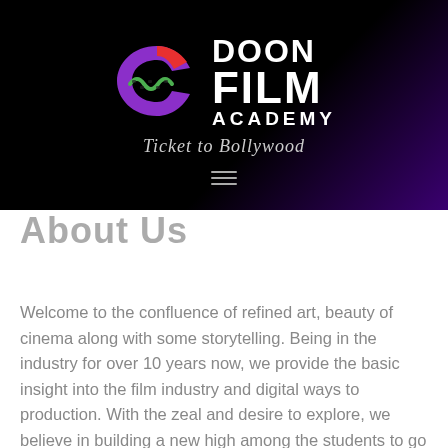[Figure (logo): Doon Film Academy logo with stylized D/film strip icon in red, purple, and green, with text 'DOON FILM ACADEMY' in white and tagline 'Ticket to Bollywood' below, on a dark/black-to-purple gradient background header.]
About Us
Welcome to the confluence of refined art, beauty of cinema along with some storytelling. Being in the industry for over 10 years now, we provide the basic insight into the film industry and digital ways to production. With the zeal and desire to explore, we believe in building a new high among the students to go ahead and widen their perspective. The key aspect to establish DFA as an independent and self-